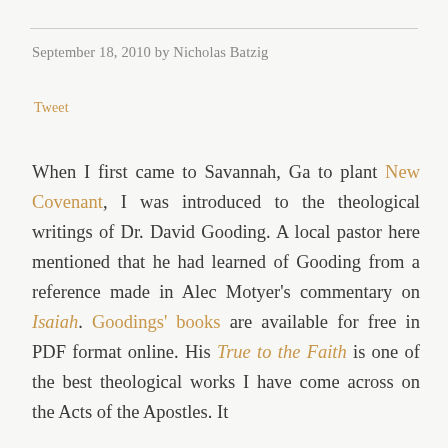September 18, 2010 by Nicholas Batzig
Tweet
When I first came to Savannah, Ga to plant New Covenant, I was introduced to the theological writings of Dr. David Gooding. A local pastor here mentioned that he had learned of Gooding from a reference made in Alec Motyer's commentary on Isaiah. Goodings' books are available for free in PDF format online. His True to the Faith is one of the best theological works I have come across on the Acts of the Apostles. It